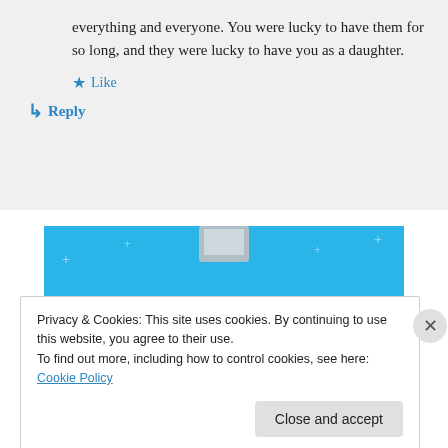everything and everyone. You were lucky to have them for so long, and they were lucky to have you as a daughter.
★ Like
↳ Reply
[Figure (illustration): Blue banner advertisement for Day One journaling app with the text 'DAY ONE' and tagline 'The only journaling app you'll ever need.']
Privacy & Cookies: This site uses cookies. By continuing to use this website, you agree to their use.
To find out more, including how to control cookies, see here: Cookie Policy
Close and accept